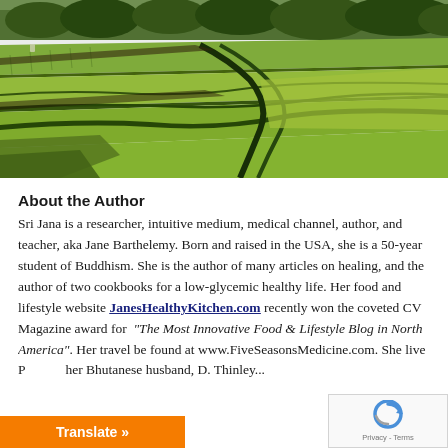[Figure (photo): Aerial view of lush green terraced rice fields with curved pathways and trees in the background]
About the Author
Sri Jana is a researcher, intuitive medium, medical channel, author, and teacher, aka Jane Barthelemy. Born and raised in the USA, she is a 50-year student of Buddhism. She is the author of many articles on healing, and the author of two cookbooks for a low-glycemic healthy life. Her food and lifestyle website JanesHealthyKitchen.com recently won the coveted CV Magazine award for “The Most Innovative Food & Lifestyle Blog in North America”. Her travel be found at www.FiveSeasonsMedicine.com. She live P her Bhutanese husband, D. Thinley...